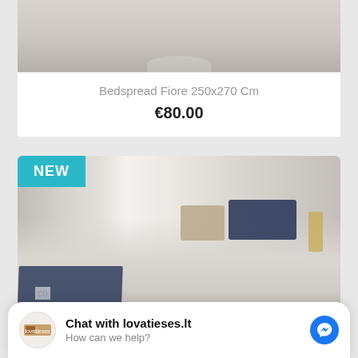[Figure (photo): Partial view of a bedspread product card from above, showing a white/beige textured bedspread on a bed.]
Bedspread Fiore 250x270 Cm
€80.00
[Figure (photo): Product card with NEW badge showing a bedroom with a beige bedspread and dark navy blue accents on pillows and a throw blanket, with a lamp and curtains in background.]
NEW
Chat with lovatieses.lt
How can we help?